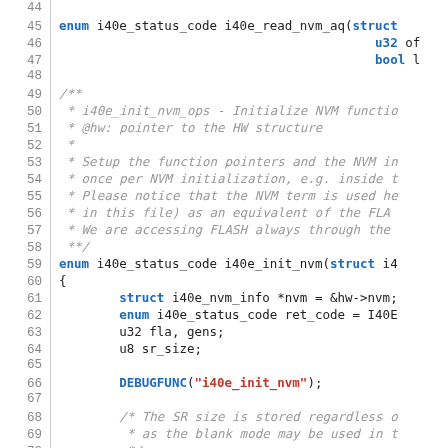[Figure (screenshot): Source code listing showing C code for i40e NVM driver functions, lines 44-74, with syntax highlighting: blue for keywords and function names, red for strings, gray italic for comments, black for other code.]